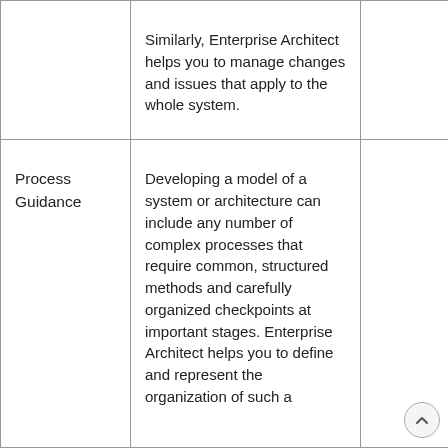|  | Similarly, Enterprise Architect helps you to manage changes and issues that apply to the whole system. |  |
| Process Guidance | Developing a model of a system or architecture can include any number of complex processes that require common, structured methods and carefully organized checkpoints at important stages. Enterprise Architect helps you to define and represent the organization of such a |  |